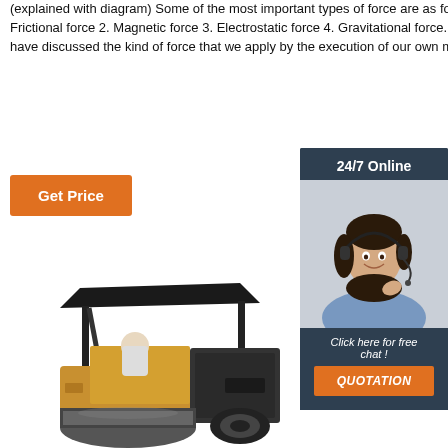(explained with diagram) Some of the most important types of force are as follows: 1. Frictional force 2. Magnetic force 3. Electrostatic force 4. Gravitational force. So far we have discussed the kind of force that we apply by the execution of our own muscles.
Get Price
[Figure (illustration): Customer service representative with headset, with '24/7 Online' header, 'Click here for free chat!' text, and QUOTATION button on dark blue background sidebar]
[Figure (photo): Road roller / asphalt compactor machinery, yellow and black, with canopy, operator seated, on white background]